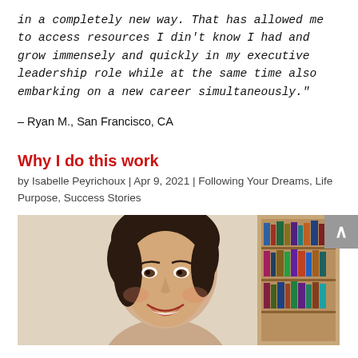in a completely new way. That has allowed me to access resources I din't know I had and grow immensely and quickly in my executive leadership role while at the same time also embarking on a new career simultaneously."
– Ryan M., San Francisco, CA
Why I do this work
by Isabelle Peyrichoux | Apr 9, 2021 | Following Your Dreams, Life Purpose, Success Stories
[Figure (photo): Photo of Isabelle Peyrichoux, a woman with dark hair, smiling, in front of a bookshelf]